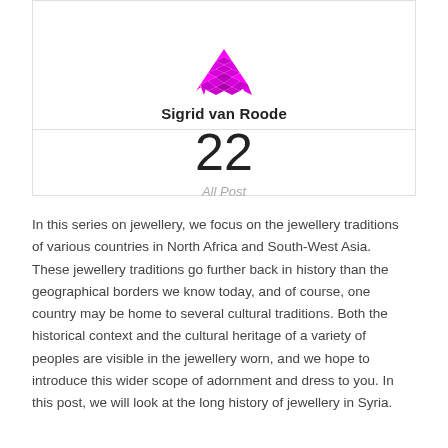[Figure (illustration): Pink/magenta decorative geometric diamond/crystal pattern avatar icon]
Sigrid van Roode
22
All Post
In this series on jewellery, we focus on the jewellery traditions of various countries in North Africa and South-West Asia. These jewellery traditions go further back in history than the geographical borders we know today, and of course, one country may be home to several cultural traditions. Both the historical context and the cultural heritage of a variety of peoples are visible in the jewellery worn, and we hope to introduce this wider scope of adornment and dress to you. In this post, we will look at the long history of jewellery in Syria.